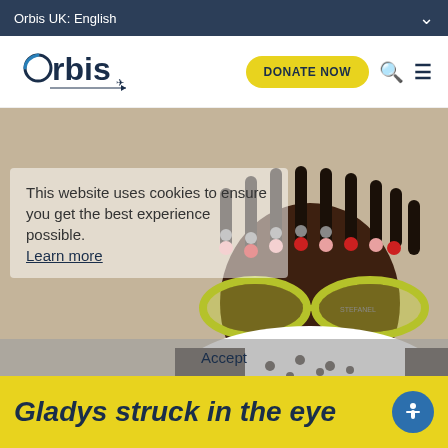Orbis UK: English
[Figure (logo): Orbis logo with airplane icon]
[Figure (photo): A smiling young girl wearing yellow-green glasses and braided hair with colorful beads]
This website uses cookies to ensure you get the best experience possible. Learn more
Accept
Gladys struck in the eye